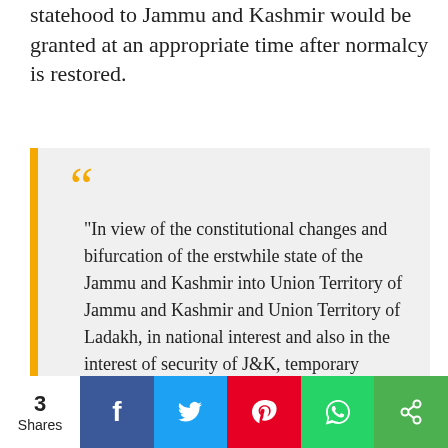statehood to Jammu and Kashmir would be granted at an appropriate time after normalcy is restored.
"In view of the constitutional changes and bifurcation of the erstwhile state of the Jammu and Kashmir into Union Territory of Jammu and Kashmir and Union Territory of Ladakh, in national interest and also in the interest of security of J&K, temporary restrictions on various communication channels like internet and mobile services were resorted to in Jammu and Kashmir," junior home minister Nityanand Rai had said recently.
3 Shares